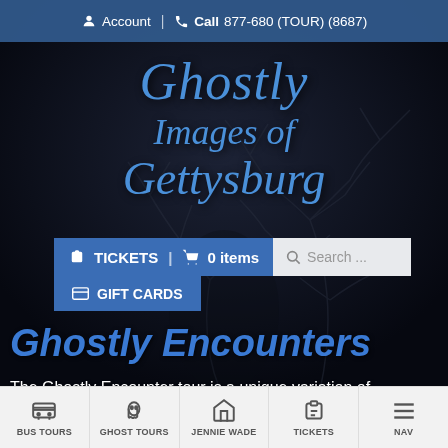Account | Call 877-680 (TOUR) (8687)
[Figure (screenshot): Dark atmospheric background with ghostly tree branches silhouette]
Ghostly Images of Gettysburg
[Figure (screenshot): Navigation bar with TICKETS, 0 items cart, Search box, and GIFT CARDS dropdown]
Ghostly Encounters
The Ghostly Encounter tour is a unique variation of
BUS TOURS | GHOST TOURS | JENNIE WADE | TICKETS | NAV